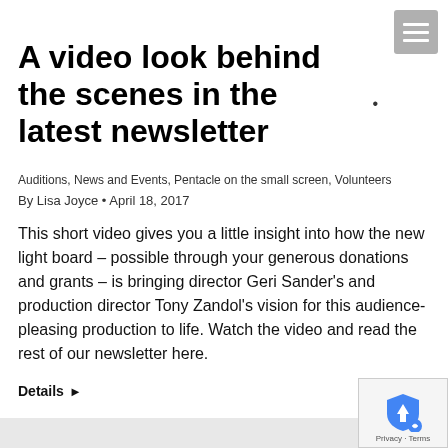A video look behind the scenes in the latest newsletter
Auditions, News and Events, Pentacle on the small screen, Volunteers
By Lisa Joyce · April 18, 2017
This short video gives you a little insight into how the new light board – possible through your generous donations and grants – is bringing director Geri Sander's and production director Tony Zandol's vision for this audience-pleasing production to life. Watch the video and read the rest of our newsletter here.
Details ▶